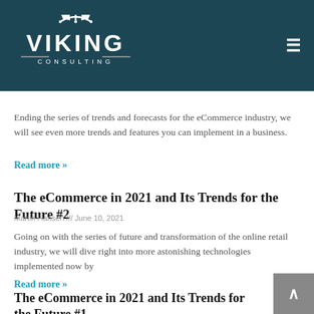VIKING CONSULTING
Ending the series of trends and forecasts for the eCommerce industry, we will see even more trends and features you can implement in a business.
Read more »
The eCommerce in 2021 and Its Trends for the Future #2
Martin Hansen /// June 10, 2021
Going on with the series of future and transformation of the online retail industry, we will dive right into more astonishing technologies implemented now by
Read more »
The eCommerce in 2021 and Its Trends for the Future #1